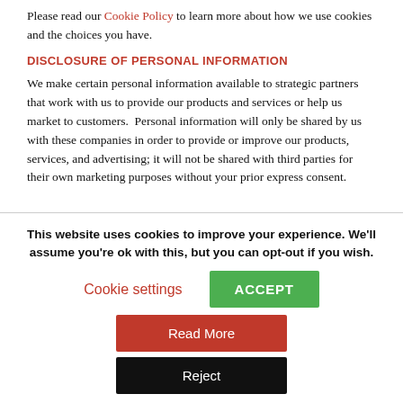Please read our Cookie Policy to learn more about how we use cookies and the choices you have.
DISCLOSURE OF PERSONAL INFORMATION
We make certain personal information available to strategic partners that work with us to provide our products and services or help us market to customers.  Personal information will only be shared by us with these companies in order to provide or improve our products, services, and advertising; it will not be shared with third parties for their own marketing purposes without your prior express consent.
This website uses cookies to improve your experience. We'll assume you're ok with this, but you can opt-out if you wish.
Cookie settings
ACCEPT
Read More
Reject